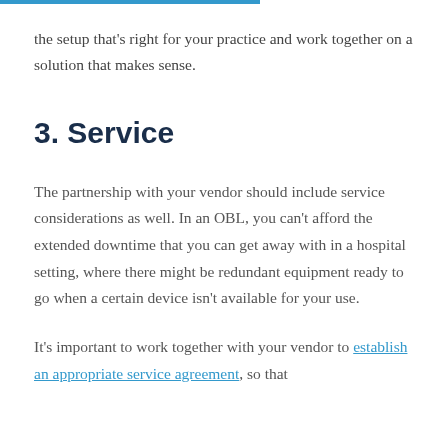the setup that's right for your practice and work together on a solution that makes sense.
3. Service
The partnership with your vendor should include service considerations as well. In an OBL, you can't afford the extended downtime that you can get away with in a hospital setting, where there might be redundant equipment ready to go when a certain device isn't available for your use.
It's important to work together with your vendor to establish an appropriate service agreement, so that